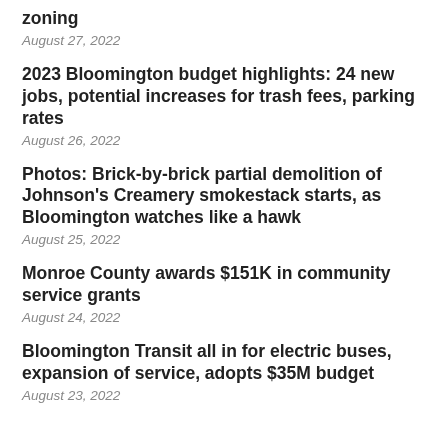zoning
August 27, 2022
2023 Bloomington budget highlights: 24 new jobs, potential increases for trash fees, parking rates
August 26, 2022
Photos: Brick-by-brick partial demolition of Johnson's Creamery smokestack starts, as Bloomington watches like a hawk
August 25, 2022
Monroe County awards $151K in community service grants
August 24, 2022
Bloomington Transit all in for electric buses, expansion of service, adopts $35M budget
August 23, 2022